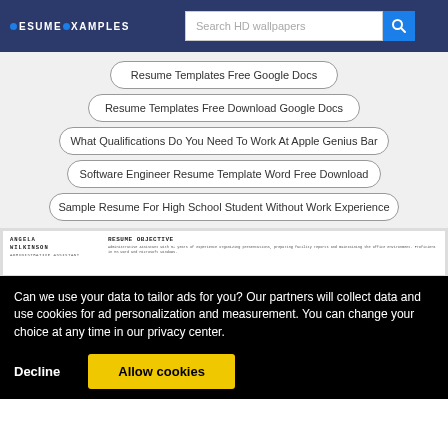RESUME EXAMPLES | Search HD wallpapers
Resume Templates Free Google Docs
Resume Templates Free Download Google Docs
What Qualifications Do You Need To Work At Apple Genius Bar
Software Engineer Resume Template Word Free Download
Sample Resume For High School Student Without Work Experience
[Figure (screenshot): Preview of a resume for Angela Wilkinson, Administrative Assistant, showing resume objective section]
Can we use your data to tailor ads for you? Our partners will collect data and use cookies for ad personalization and measurement. You can change your choice at any time in our privacy center.
Decline | Allow cookies